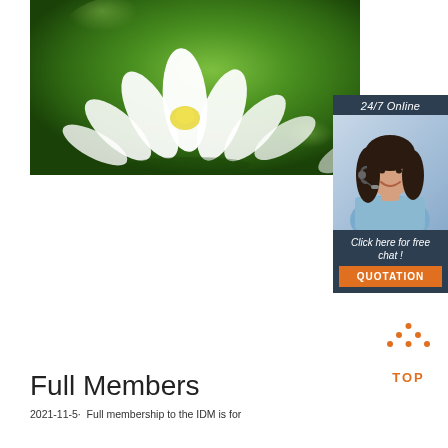[Figure (photo): White lotus flower with yellow center on a green bokeh background]
[Figure (infographic): 24/7 Online chat widget with woman wearing headset, 'Click here for free chat!' text, and orange QUOTATION button]
[Figure (other): Orange TOP button with dots forming triangle/house shape above the text TOP]
Full Members
2021-11-5u2002·u2002Full membership to the IDM is for